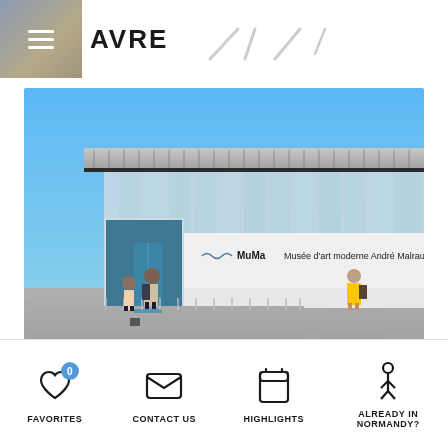AVRE
[Figure (photo): Exterior photograph of MuMa - Musée d'art moderne André Malraux in Le Havre, France. Modern building with horizontal lines and glass facade under blue sky. People walking on stone plaza in foreground.]
FAVORITES | CONTACT US | HIGHLIGHTS | ALREADY IN NORMANDY?